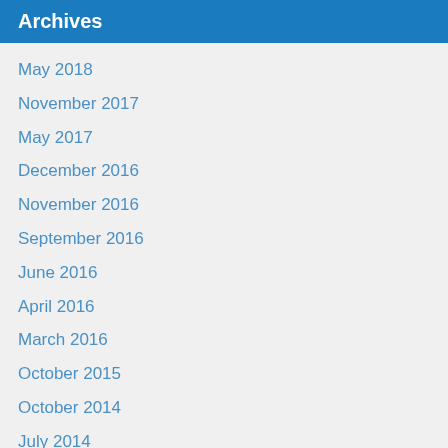Archives
May 2018
November 2017
May 2017
December 2016
November 2016
September 2016
June 2016
April 2016
March 2016
October 2015
October 2014
July 2014
May 2014
April 2014
March 2014
February 2014
December 2013